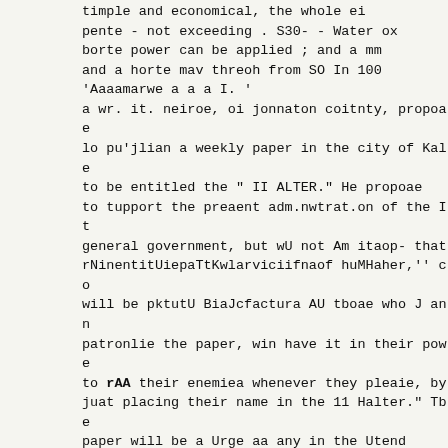timple and economical, the whole ei pente - not exceeding . S30- - Water ox borte power can be applied ; and a mm and a horte mav threoh from SO In 100 'Aaaamarwe a a a I. '
a wr. it. neiroe, oi jonnaton coitnty, propoae lo pu'jlian a weekly paper in the city of Kale to be entitled the " II ALTER." He propoae to tupport the preaent adm.nwtrat.on of the It general government, but wU not Am itaop- that rNinentitUiepaTtKwlarviciifnaof huMHaher,'' co will be pktutU BiaJcfactura AU tboae who J ann patronlie the paper, win have it in their powe to rAA their enemiea whenever they pleaie, by juat placing their name in the 11 Halter." Tbe paper will be a Urge aa any in the Utend tbe price the earn.
A late Liverpool paper rives the fol lowing directions for obtaining flower of different colora, on the tame atem.
"Split a email twig of the Elder bush i -www i i.iiiii.ik, miu iiain iiwjirg uui me rnu.p r. uarootir, taie speaaeroi ine iiouae p of Reprewentallvet, hat been nominated by the